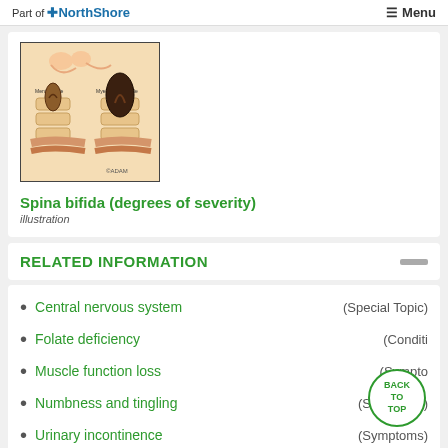Part of NorthShore   Menu
[Figure (illustration): Medical illustration showing spina bifida degrees of severity - two cross-section views of the spine showing Meningocele and Myelomeningocele, with labels. Copyright ADAM.]
Spina bifida (degrees of severity)
illustration
RELATED INFORMATION
Central nervous system (Special Topic)
Folate deficiency (Condition)
Muscle function loss (Symptoms)
Numbness and tingling (Symptoms)
Urinary incontinence (Symptoms)